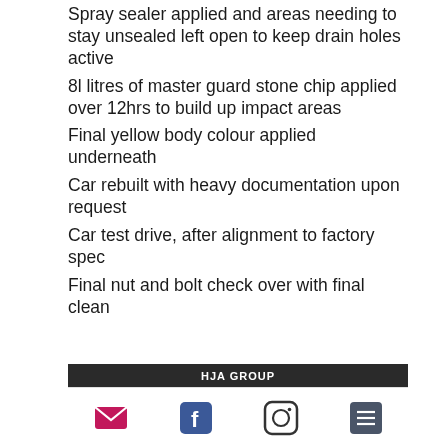Spray sealer applied and areas needing to stay unsealed left open to keep drain holes active
8l litres of master guard stone chip applied over 12hrs to build up impact areas
Final yellow body colour applied underneath
Car rebuilt with heavy documentation upon request
Car test drive, after alignment to factory spec
Final nut and bolt check over with final clean
HJA GROUP